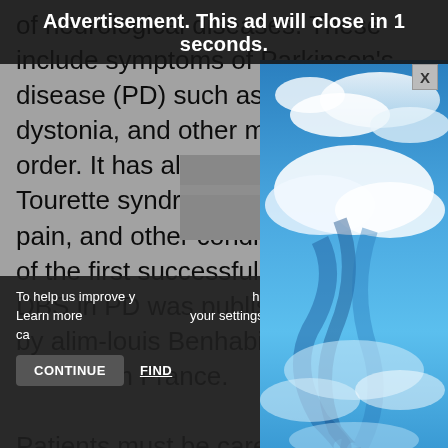of neurological diseases. These include symptoms of Parkinson's disease (PD) such as tremor, dystonia, and other movement disorder. It has also been used for Tourette syndrome, neuropathic pain, and other conditions. A report of the first successful application of DBS in PD was published in 1987, by alim-louis Benabid and his team from France.
Patients must be carefully evaluated and chosen
[Figure (screenshot): Advertisement overlay showing sky with clouds image, with 'Advertisement. This ad will close in 1 seconds.' banner at top and an X close button]
To help us improve your experience on this site, this website uses cookies. Learn more and manage your settings in our Cookie Policy. You ca...
CONTINUE     FIND...